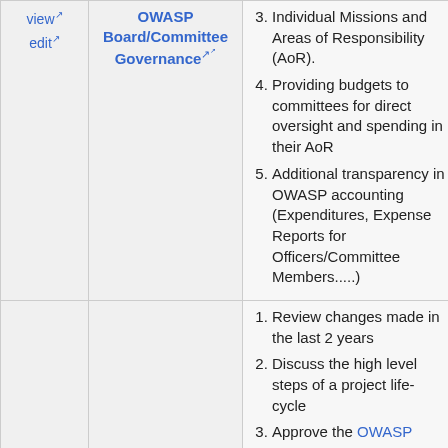view
edit
OWASP Board/Committee Governance
Individual Missions and Areas of Responsibility (AoR).
Providing budgets to committees for direct oversight and spending in their AoR
Additional transparency in OWASP accounting (Expenditures, Expense Reports for Officers/Committee Members.....)
Review changes made in the last 2 years
Discuss the high level steps of a project life-cycle
Approve the OWASP GPC Governance...
1. Init RF OW hos